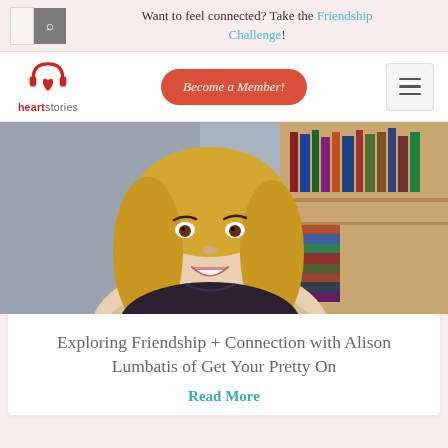Want to feel connected? Take the Friendship Challenge!
[Figure (logo): Heart Stories logo with red heart icon and text 'heartstories']
Become a Member!
[Figure (photo): A smiling blonde woman in front of a bookshelf — Alison Lumbatis of Get Your Pretty On]
Exploring Friendship + Connection with Alison Lumbatis of Get Your Pretty On
Read More